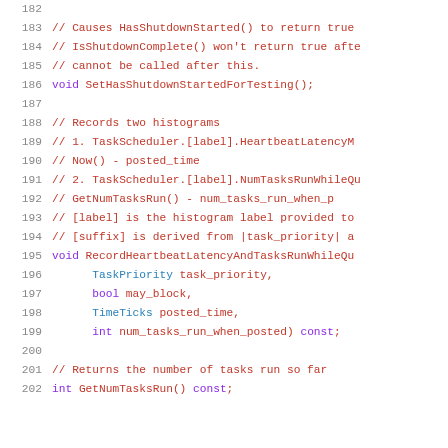Source code listing lines 182-202, C++ header file with comments and method declarations for a task scheduler class.